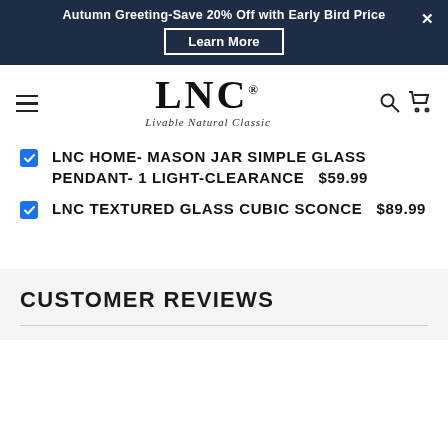Autumn Greeting-Save 20% Off with Early Bird Price | Learn More
[Figure (logo): LNC logo — Livable Natural Classic brand mark with serif LNC text and italic tagline]
LNC HOME- MASON JAR SIMPLE GLASS PENDANT- 1 LIGHT-CLEARANCE  $59.99
LNC TEXTURED GLASS CUBIC SCONCE  $89.99
CUSTOMER REVIEWS